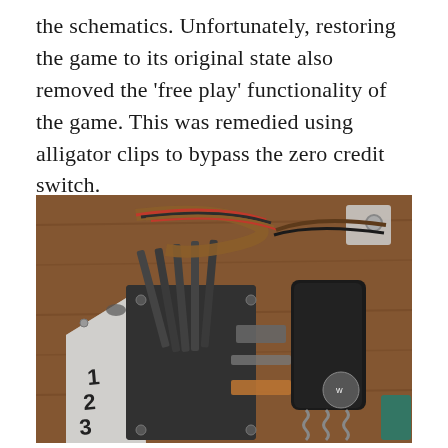the schematics. Unfortunately, restoring the game to its original state also removed the 'free play' functionality of the game. This was remedied using alligator clips to bypass the zero credit switch.
[Figure (photo): Close-up photograph of arcade game internal mechanism showing metal components, wires, springs, and electromechanical parts mounted on a wooden board. Visible components include coils, metal arms, wiring harness with colored wires, and what appears to be scoring reels with numbers 1, 2, 3 visible.]